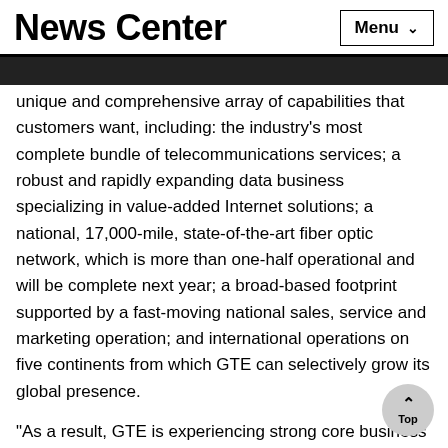News Center  Menu
unique and comprehensive array of capabilities that customers want, including: the industry's most complete bundle of telecommunications services; a robust and rapidly expanding data business specializing in value-added Internet solutions; a national, 17,000-mile, state-of-the-art fiber optic network, which is more than one-half operational and will be complete next year; a broad-based footprint supported by a fast-moving national sales, service and marketing operation; and international operations on five continents from which GTE can selectively grow its global presence.
"As a result, GTE is experiencing strong core business growth in key operational measures, such as access lines and minutes of use. We intend to continue investing in high-growth opportunities that complement our strategies while we capitalize on our existing investments."